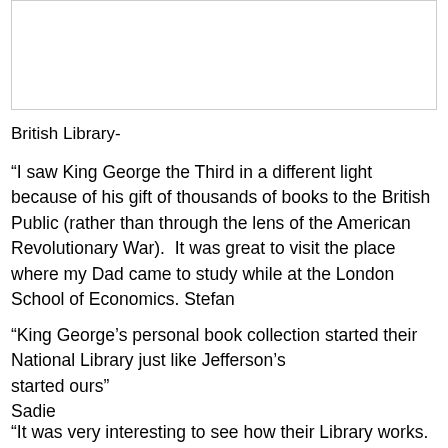[Figure (photo): A photograph or image related to British Library, shown in a bordered box at the top of the page.]
British Library-
“I saw King George the Third in a different light because of his gift of thousands of books to the British Public (rather than through the lens of the American Revolutionary War).  It was great to visit the place where my Dad came to study while at the London School of Economics. Stefan
“King George’s personal book collection started their National Library just like Jefferson’s started ours” Sadie
“It was very interesting to see how their Library works. They even have